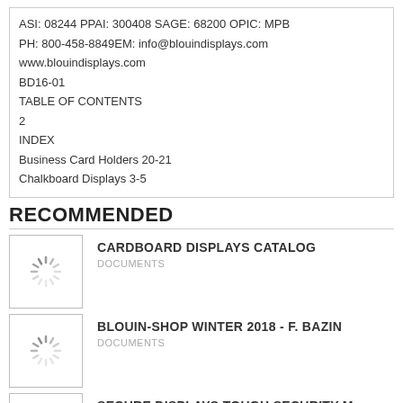ASI: 08244 PPAI: 300408 SAGE: 68200 OPIC: MPB
PH: 800-458-8849EM: info@blouindisplays.com
www.blouindisplays.com
BD16-01
TABLE OF CONTENTS
2
INDEX
Business Card Holders 20-21
Chalkboard Displays 3-5
RECOMMENDED
[Figure (other): Loading spinner thumbnail for CARDBOARD DISPLAYS CATALOG]
CARDBOARD DISPLAYS CATALOG
DOCUMENTS
[Figure (other): Loading spinner thumbnail for BLOUIN-SHOP WINTER 2018 - F. BAZIN]
BLOUIN-SHOP WINTER 2018 - F. BAZIN
DOCUMENTS
[Figure (other): Loading spinner thumbnail for SECURE DISPLAYS TOUGH SECURITY M]
SECURE DISPLAYS TOUGH SECURITY M